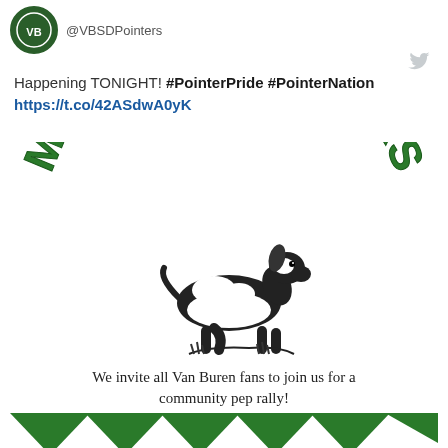[Figure (logo): Circular green school logo for VBSD Pointers]
@VBSDPointers
[Figure (logo): Twitter bird icon in grey]
Happening TONIGHT! #PointerPride #PointerNation https://t.co/42ASdwA0yK
[Figure (illustration): Meet The Pointers event flyer with large arched green text 'MEET THE POINTERS', a black and white pointer dog mascot illustration, invite text, green chevron design, and event date/location bar]
We invite all Van Buren fans to join us for a community pep rally!
Friday, August 19th
Citizen's Bank Stadium at Blakemore Field